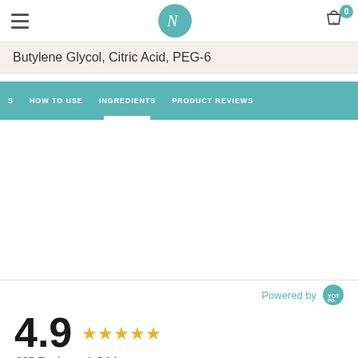N logo, hamburger menu, cart with 0 items
Butylene Glycol, Citric Acid, PEG-6
HOW TO USE   INGREDIENTS   PRODUCT REVIEWS
Powered by YOTPO
4.9  ★★★★★  305 Reviews, 1 Q&As
Write A Review
Ask A Question